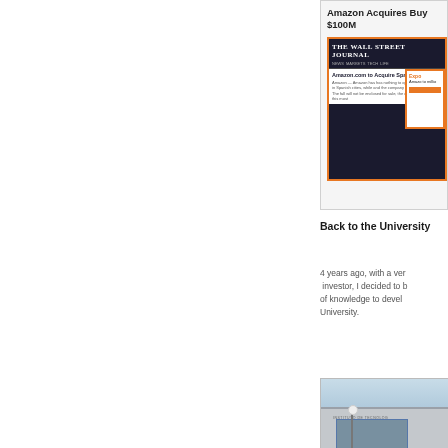[Figure (screenshot): News card showing 'Amazon Acquires Buy... $100M' headline with a screenshot of The Wall Street Journal article about Amazon.com acquiring a Spanish online company]
Back to the University
4 years ago, with a ver investor, I decided to b of knowledge to devel University.
[Figure (photo): Exterior photo of a university building with glass entrance and a lamp post in the foreground]